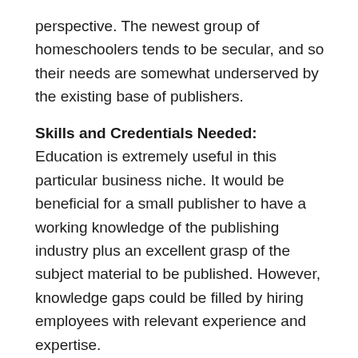perspective. The newest group of homeschoolers tends to be secular, and so their needs are somewhat underserved by the existing base of publishers.
Skills and Credentials Needed: Education is extremely useful in this particular business niche. It would be beneficial for a small publisher to have a working knowledge of the publishing industry plus an excellent grasp of the subject material to be published. However, knowledge gaps could be filled by hiring employees with relevant experience and expertise.
3. Homeschool Curriculum Online Shop:
You don't need to publish curricula to take advantage of the strong demand for it. It's possible to open a web shop and sell other publishers' curriculum.